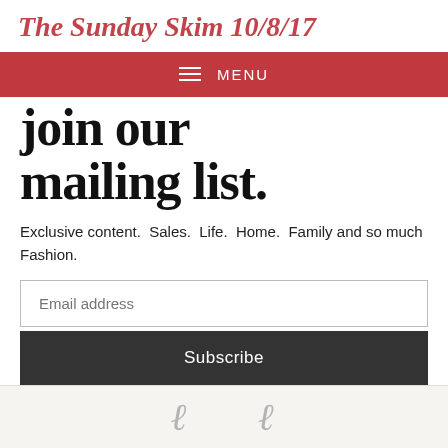The Sunday Skim 10/8/17
MENU
join our mailing list.
Exclusive content.  Sales.  Life.  Home.  Family and so much Fashion.
[Figure (other): Email address input field with placeholder text 'Email address']
[Figure (other): Dark grey Subscribe button]
[Figure (other): Decorative script text partially visible at bottom of page on light beige background]